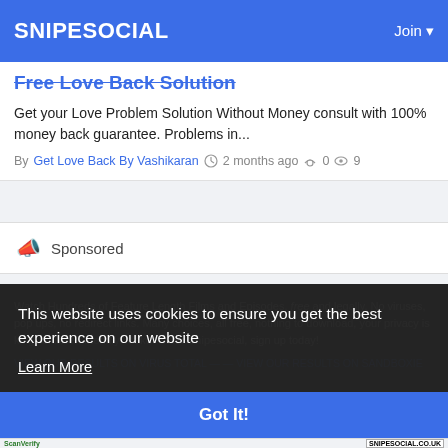SNIPESOCIAL    Join
Free Love Back Solution
Get your Love Problem Solution Without Money consult with 100% money back guarantee. Problems in...
By Get Love Back By Vashikaran  2 months ago  0  9
Sponsored
Watch Hundreds of Feature Length Films and Episodes, free and legally. No viruses, pop ups, no redirect links. Many choices, all free, nothing to download, your privacy is king. Children friendly. Maker Safer Snipesocial, sign up today!
VIEW OUR RESULTS ON VIRUS TOTAL — — VIEW OUR RESULTS ON SANDBOXIE
This website uses cookies to ensure you get the best experience on our website
Learn More
Got It!